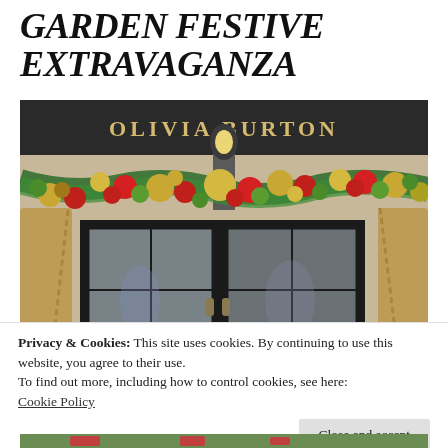GARDEN FESTIVE EXTRAVAGANZA
[Figure (photo): Exterior of Olivia Burton store decorated with festive Christmas garland of pine branches, red, gold, and green ornament balls across the top of the entrance]
Privacy & Cookies: This site uses cookies. By continuing to use this website, you agree to their use.
To find out more, including how to control cookies, see here:
Cookie Policy
Close and accept
[Figure (photo): Partial view of a festive outdoor garden scene at the bottom]